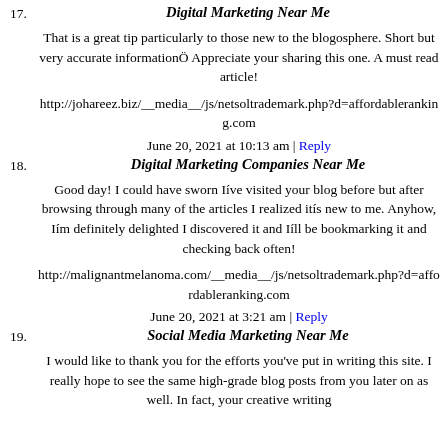17. Digital Marketing Near Me
That is a great tip particularly to those new to the blogosphere. Short but very accurate informationÖ Appreciate your sharing this one. A must read article!
http://johareez.biz/__media__/js/netsoltrademark.php?d=affordableranking.com
June 20, 2021 at 10:13 am | Reply
18. Digital Marketing Companies Near Me
Good day! I could have sworn Iíve visited your blog before but after browsing through many of the articles I realized itís new to me. Anyhow, Iím definitely delighted I discovered it and Iíll be bookmarking it and checking back often!
http://malignantmelanoma.com/__media__/js/netsoltrademark.php?d=affordableranking.com
June 20, 2021 at 3:21 am | Reply
19. Social Media Marketing Near Me
I would like to thank you for the efforts you've put in writing this site. I really hope to see the same high-grade blog posts from you later on as well. In fact, your creative writing